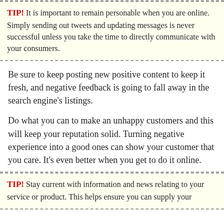TIP! It is important to remain personable when you are online. Simply sending out tweets and updating messages is never successful unless you take the time to directly communicate with your consumers.
Be sure to keep posting new positive content to keep it fresh, and negative feedback is going to fall away in the search engine's listings.
Do what you can to make an unhappy customers and this will keep your reputation solid. Turning negative experience into a good ones can show your customer that you care. It's even better when you get to do it online.
TIP! Stay current with information and news relating to your service or product. This helps ensure you can supply your